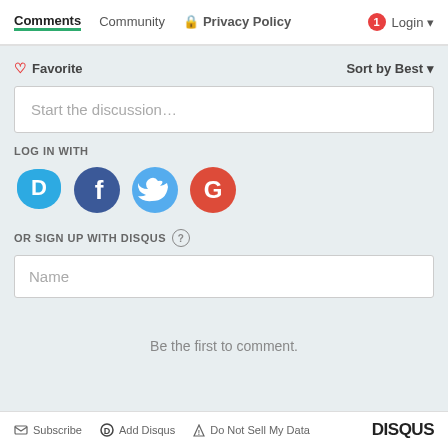Comments  Community  Privacy Policy  Login
♡ Favorite    Sort by Best
Start the discussion…
LOG IN WITH
[Figure (illustration): Four social login icons: Disqus (blue speech bubble with D), Facebook (dark blue circle with f), Twitter (light blue circle with bird), Google (red circle with G)]
OR SIGN UP WITH DISQUS ?
Name
Be the first to comment.
Subscribe  Add Disqus  Do Not Sell My Data  DISQUS